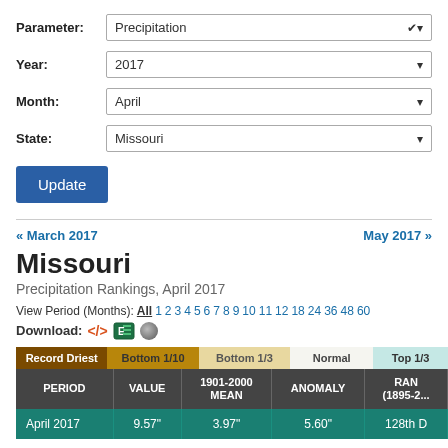Parameter: Precipitation
Year: 2017
Month: April
State: Missouri
Update
« March 2017    May 2017 »
Missouri
Precipitation Rankings, April 2017
View Period (Months): All 1 2 3 4 5 6 7 8 9 10 11 12 18 24 36 48 60
Download:
| Record Driest | Bottom 1/10 | Bottom 1/3 | Normal | Top 1/3 |
| --- | --- | --- | --- | --- |
| PERIOD | VALUE | 1901-2000 MEAN | ANOMALY | RANK (1895-2...) |
| April 2017 | 9.57" | 3.97" | 5.60" | 128th D... |